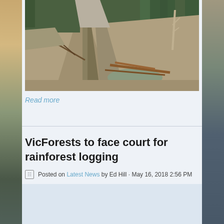[Figure (photo): A logging site showing cleared and eroded hillside with dirt tracks, felled trees and debris, with standing forest in the background]
Read more
VicForests to face court for rainforest logging
Posted on Latest News by Ed Hill · May 16, 2018 2:56 PM